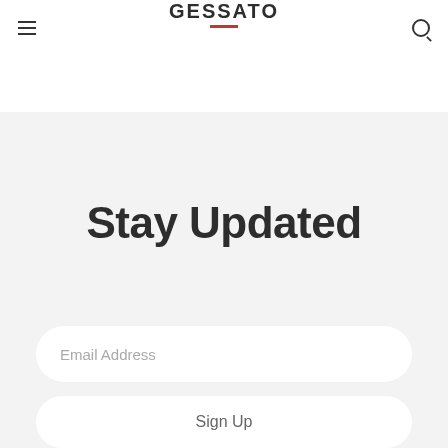GESSATO
[Figure (photo): Partial view of a photo strip showing green foliage/garden scene at top of page]
Stay Updated
Email Address
Sign Up